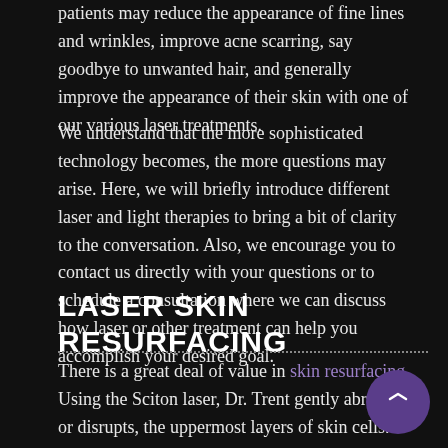patients may reduce the appearance of fine lines and wrinkles, improve acne scarring, say goodbye to unwanted hair, and generally improve the appearance of their skin with one of our various laser treatments.
We understand that the more sophisticated technology becomes, the more questions may arise. Here, we will briefly introduce different laser and light therapies to bring a bit of clarity to the conversation. Also, we encourage you to contact us directly with your questions or to schedule a consultation where we can discuss how laser or other treatment can help you accomplish your desired goal.
LASER SKIN RESURFACING
There is a great deal of value in skin resurfacing. Using the Sciton laser, Dr. Trent gently abrades, or disrupts, the uppermost layers of skin cells. Doing so achieves two